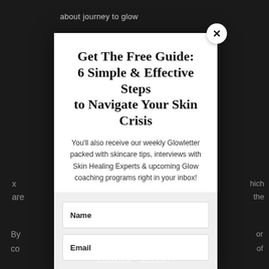about journey to glow
Get The Free Guide: 6 Simple & Effective Steps to Navigate Your Skin Crisis
You'll also receive our weekly Glowletter packed with skincare tips, interviews with Skin Healing Experts & upcoming Glow coaching programs right in your inbox!
Name
Email